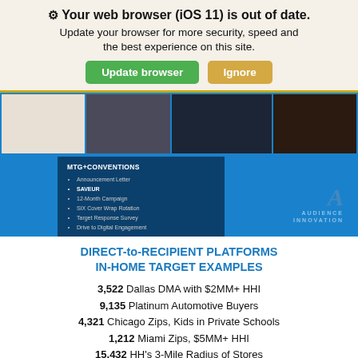⚙ Your web browser (iOS 11) is out of date.
Update your browser for more security, speed and the best experience on this site.
[Figure (screenshot): Marketing brochure mockups displayed on a blue background with MTG+CONVENTIONS panel listing items: Announcement Letter, SAVEUR, 12-Month Campaign, SIX Cover Wrap Rotation, Target Response Survey, Drive to Digital Engagement. Audience Innovation logo visible at bottom right.]
DIRECT-to-RECIPIENT PLATFORMS IN-HOME TARGET EXAMPLES
3,522 Dallas DMA with $2MM+ HHI
9,135 Platinum Automotive Buyers
4,321 Chicago Zips, Kids in Private Schools
1,212 Miami Zips, $5MM+ HHI
15,432 HH's 3-Mile Radius of Stores
6,739 Platinum 50+, $1MM+ HHI
19,627 $1MM+ HHI HH's 1-Mile Radius